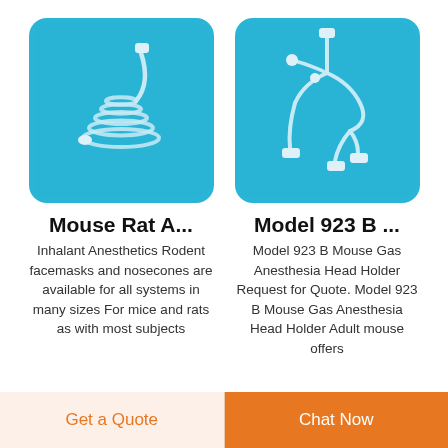[Figure (photo): Coiled tube/catheter for rodent anesthesia on blue background]
[Figure (photo): Model 923 B mouse gas anesthesia head holder with multiple tubing connectors on blue background]
Mouse Rat A...
Model 923 B ...
Inhalant Anesthetics Rodent facemasks and nosecones are available for all systems in many sizes For mice and rats as with most subjects
Model 923 B Mouse Gas Anesthesia Head Holder Request for Quote. Model 923 B Mouse Gas Anesthesia Head Holder Adult mouse offers
Get a Quote   Chat Now